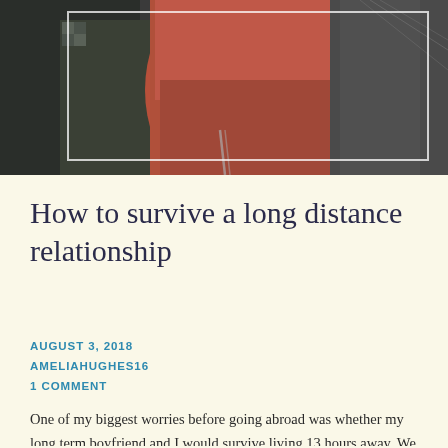[Figure (photo): Photograph of two people outdoors, one wearing a red/rust jacket and the other wearing a dark jacket with a chain. A white rectangle overlay is visible in the upper right portion of the image.]
How to survive a long distance relationship
AUGUST 3, 2018
AMELIAHUGHES16
1 COMMENT
One of my biggest worries before going abroad was whether my long term boyfriend and I would survive living 13 hours away. We had lived together for the first two years in Manchester and had both decided to go abroad in our third year. He would be studying at the University of